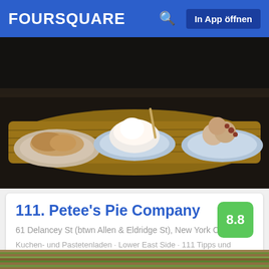FOURSQUARE   In App öffnen
[Figure (photo): Food photo showing several plates of desserts/pies on a wooden board, viewed from above]
111. Petee's Pie Company
8.8
61 Delancey St (btwn Allen & Eldridge St), New York City, NY
Kuchen- und Pastetenladen · Lower East Side · 111 Tipps und Bewertungen
[Figure (photo): Close-up photo of a layered green matcha cake slice showing distinct layers]